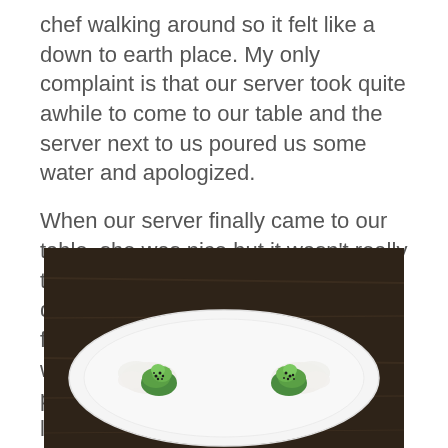chef walking around so it felt like a down to earth place.  My only complaint is that our server took quite awhile to come to our table and the server next to us poured us some water and apologized.
When our server finally came to our table, she was nice but it wasn't really the best service I've had (it definitely didn't match with the high quality of food there). The server next to us was much nicer.  However, the food pretty much made up for the lackluster service so I can't complain.
[Figure (photo): A white oval plate on a dark wooden table with two small elegant food servings — each consists of a swirl of bright green puree/mousse topped with black sesame seeds, accompanied by white creamy elements beside them.]